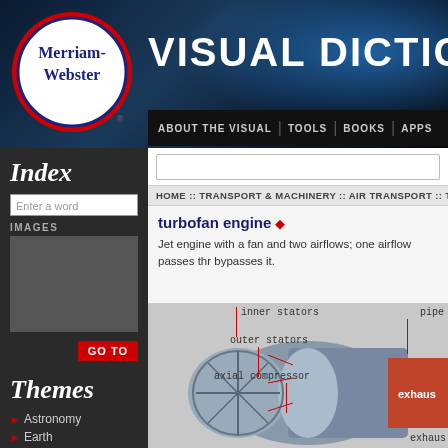[Figure (screenshot): Merriam-Webster Visual Dictionary website screenshot showing header with logo, navigation bar, left sidebar with Index and Themes sections, and main content area showing turbofan engine entry with diagram]
VISUAL DICTIONARY
ABOUT THE VISUAL | TOOLS | BOOKS | APPS
Index
Enter a word
IMAGES
GO TO
Themes
Astronomy
Earth
HOME :: TRANSPORT & MACHINERY :: AIR TRANSPORT :: TUR
turbofan engine
Jet engine with a fan and two airflows; one airflow passes thr bypasses it.
[Figure (illustration): Turbofan engine diagram with labels: inner stators, outer stators, axial compressor, pipe, exhaust]